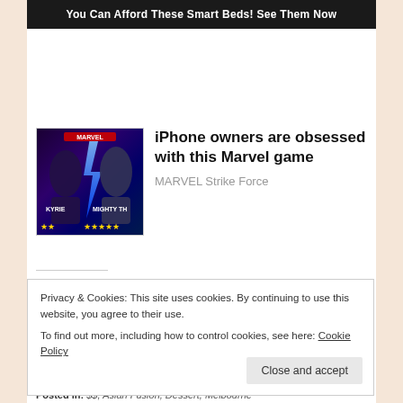[Figure (screenshot): Dark advertisement banner with text 'You Can Afford These Smart Beds! See Them Now']
[Figure (photo): Marvel Strike Force game advertisement image showing characters Kyrie and Mighty Thor with star ratings]
iPhone owners are obsessed with this Marvel game
MARVEL Strike Force
SHARE THIS:
[Figure (infographic): Twitter and Facebook share buttons (blue circular icons)]
Privacy & Cookies: This site uses cookies. By continuing to use this website, you agree to their use.
To find out more, including how to control cookies, see here: Cookie Policy
Posted in: $$, Asian Fusion, Dessert, Melbourne